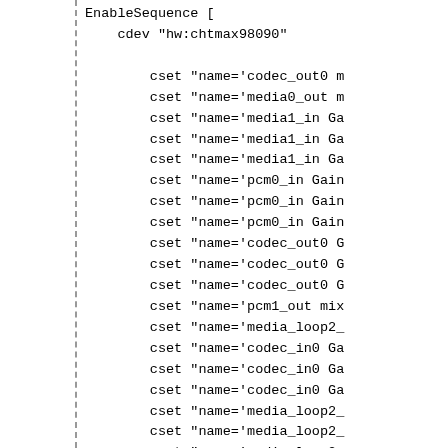EnableSequence [
    cdev "hw:chtmax98090"

        cset "name='codec_out0 m..."
        cset "name='media0_out m..."
        cset "name='media1_in Ga..."
        cset "name='media1_in Ga..."
        cset "name='media1_in Ga..."
        cset "name='pcm0_in Gain..."
        cset "name='pcm0_in Gain..."
        cset "name='pcm0_in Gain..."
        cset "name='codec_out0 G..."
        cset "name='codec_out0 G..."
        cset "name='codec_out0 G..."
        cset "name='pcm1_out mix..."
        cset "name='media_loop2_..."
        cset "name='codec_in0 Ga..."
        cset "name='codec_in0 Ga..."
        cset "name='codec_in0 Ga..."
        cset "name='media_loop2_..."
        cset "name='media_loop2_..."
        cset "name='media_loop2_..."
        cset "name='pcm1_out Gai..."
        cset "name='pcm1_out Gai..."
        cset "name='pcm1_out Gai...